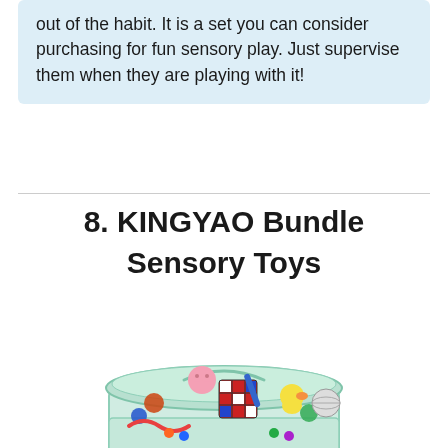out of the habit. It is a set you can consider purchasing for fun sensory play. Just supervise them when they are playing with it!
8. KINGYAO Bundle Sensory Toys
[Figure (photo): A clear plastic container with a mint/green lid open, filled with various colorful sensory toys including a Rubik's cube, squishy animals, marble toys, fidget items, and other small sensory play objects.]